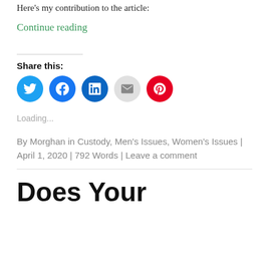Here's my contribution to the article:
Continue reading
Share this:
[Figure (other): Social share icons: Twitter (blue), Facebook (dark blue), LinkedIn (dark teal), Email (gray), Pinterest (red)]
Loading...
By Morghan in Custody, Men's Issues, Women's Issues | April 1, 2020 | 792 Words | Leave a comment
Does Your